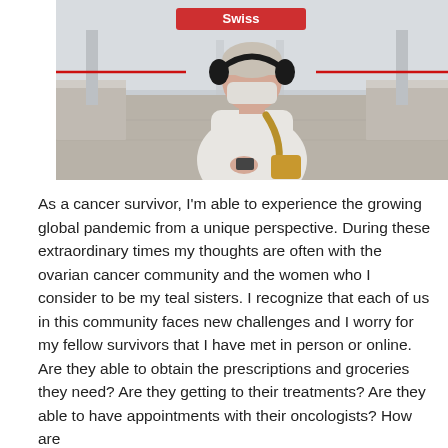[Figure (photo): A person wearing a white hoodie, headphones around their neck, a face mask, and a yellow crossbody bag, standing in an airport or large public building with check-in counters in the background.]
As a cancer survivor, I'm able to experience the growing global pandemic from a unique perspective. During these extraordinary times my thoughts are often with the ovarian cancer community and the women who I consider to be my teal sisters. I recognize that each of us in this community faces new challenges and I worry for my fellow survivors that I have met in person or online. Are they able to obtain the prescriptions and groceries they need? Are they getting to their treatments? Are they able to have appointments with their oncologists? How are